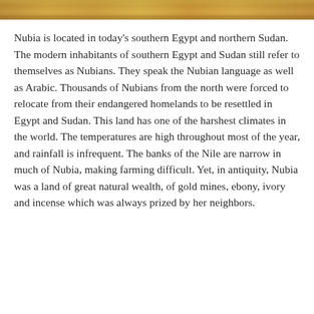[Figure (photo): Decorative horizontal image strip at the top of the page, showing a sandy/golden desert or ancient Nubian landscape in warm earth tones.]
Nubia is located in today's southern Egypt and northern Sudan. The modern inhabitants of southern Egypt and Sudan still refer to themselves as Nubians. They speak the Nubian language as well as Arabic. Thousands of Nubians from the north were forced to relocate from their endangered homelands to be resettled in Egypt and Sudan. This land has one of the harshest climates in the world. The temperatures are high throughout most of the year, and rainfall is infrequent. The banks of the Nile are narrow in much of Nubia, making farming difficult. Yet, in antiquity, Nubia was a land of great natural wealth, of gold mines, ebony, ivory and incense which was always prized by her neighbors.